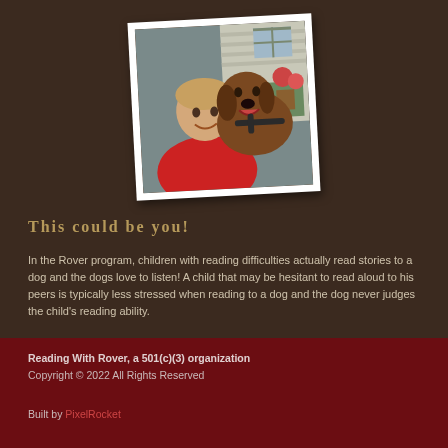[Figure (photo): A young man in a red shirt smiling with a brown dog wearing a harness, posed outdoors near a house with flower pots.]
This could be you!
In the Rover program, children with reading difficulties actually read stories to a dog and the dogs love to listen! A child that may be hesitant to read aloud to his peers is typically less stressed when reading to a dog and the dog never judges the child's reading ability.
Reading With Rover, a 501(c)(3) organization
Copyright © 2022 All Rights Reserved
Built by PixelRocket